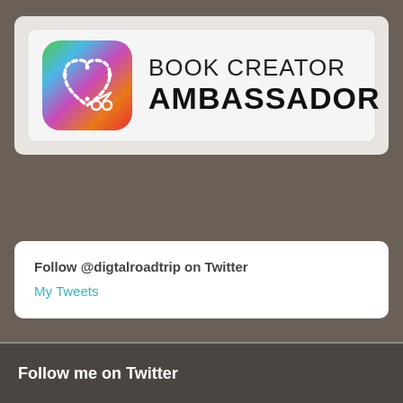[Figure (logo): Book Creator Ambassador badge with colorful app icon on left and text 'BOOK CREATOR AMBASSADOR' on right]
Follow @digtalroadtrip on Twitter
My Tweets
Follow me on Twitter